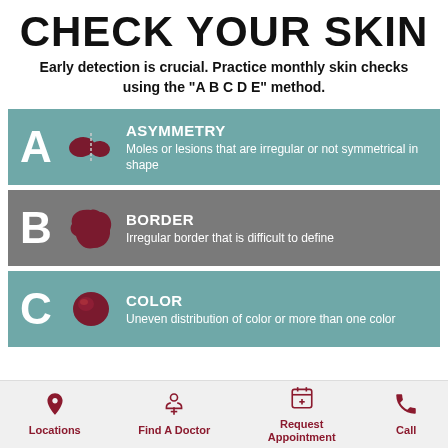CHECK YOUR SKIN
Early detection is crucial. Practice monthly skin checks using the “A B C D E” method.
A - ASYMMETRY: Moles or lesions that are irregular or not symmetrical in shape
B - BORDER: Irregular border that is difficult to define
C - COLOR: Uneven distribution of color or more than one color
Locations | Find A Doctor | Request Appointment | Call